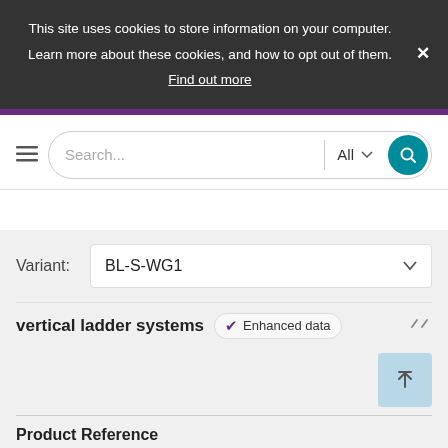This site uses cookies to store information on your computer. Learn more about these cookies, and how to opt out of them. Find out more
[Figure (screenshot): Search bar with hamburger menu, text input placeholder 'Search...', 'All' category dropdown, and teal search button]
Variant: BL-S-WG1
vertical ladder systems
Enhanced data
Product Reference